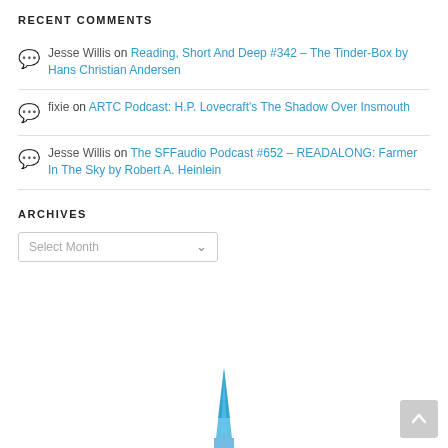RECENT COMMENTS
Jesse Willis on Reading, Short And Deep #342 – The Tinder-Box by Hans Christian Andersen
fixie on ARTC Podcast: H.P. Lovecraft's The Shadow Over Insmouth
Jesse Willis on The SFFaudio Podcast #652 – READALONG: Farmer In The Sky by Robert A. Heinlein
ARCHIVES
Select Month
[Figure (illustration): Blue spire/antenna illustration at the bottom of the page]